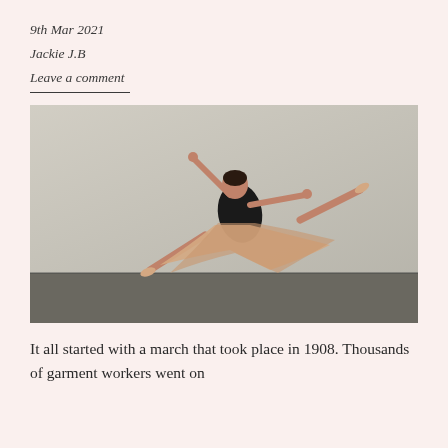9th Mar 2021
Jackie J.B
Leave a comment
[Figure (photo): A ballet dancer in a black leotard and flowing beige/rose skirt leaping mid-air in a studio, with one leg extended back and arms outstretched gracefully.]
It all started with a march that took place in 1908. Thousands of garment workers went on